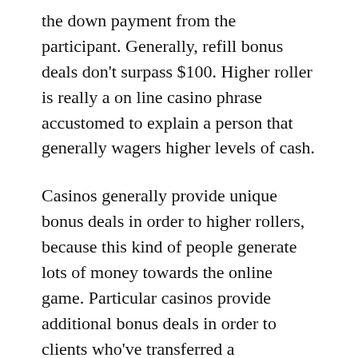the down payment from the participant. Generally, refill bonus deals don't surpass $100. Higher roller is really a on line casino phrase accustomed to explain a person that generally wagers higher levels of cash.
Casinos generally provide unique bonus deals in order to higher rollers, because this kind of people generate lots of money towards the online game. Particular casinos provide additional bonus deals in order to clients who've transferred a considerable quantity within their accounts. Recommendation money reward is actually supplied in order to current customers that generate new clients. Generally, recommendation reward is really a portion from the preliminary down payment from the brand new customer. A number of elements need to be taken into account whilst evaluating the on line casino reward. You ought to possess a